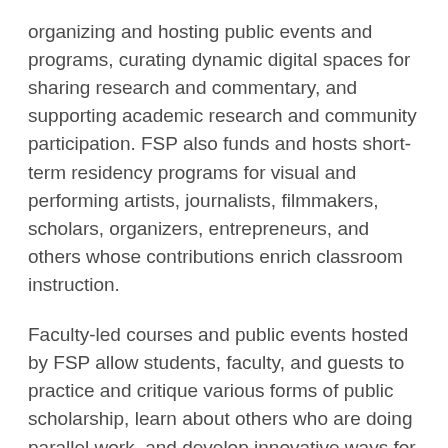organizing and hosting public events and programs, curating dynamic digital spaces for sharing research and commentary, and supporting academic research and community participation. FSP also funds and hosts short-term residency programs for visual and performing artists, journalists, filmmakers, scholars, organizers, entrepreneurs, and others whose contributions enrich classroom instruction.
Faculty-led courses and public events hosted by FSP allow students, faculty, and guests to practice and critique various forms of public scholarship, learn about others who are doing parallel work, and develop innovative ways for communication and exchange.
The FSP space in 011 Old Chem on Duke's West Campus quad includes programming and meeting space and a